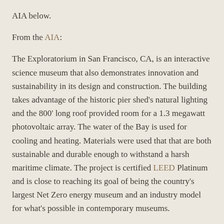AIA below.
From the AIA:
The Exploratorium in San Francisco, CA, is an interactive science museum that also demonstrates innovation and sustainability in its design and construction. The building takes advantage of the historic pier shed's natural lighting and the 800' long roof provided room for a 1.3 megawatt photovoltaic array. The water of the Bay is used for cooling and heating. Materials were used that that are both sustainable and durable enough to withstand a harsh maritime climate. The project is certified LEED Platinum and is close to reaching its goal of being the country's largest Net Zero energy museum and an industry model for what's possible in contemporary museums.